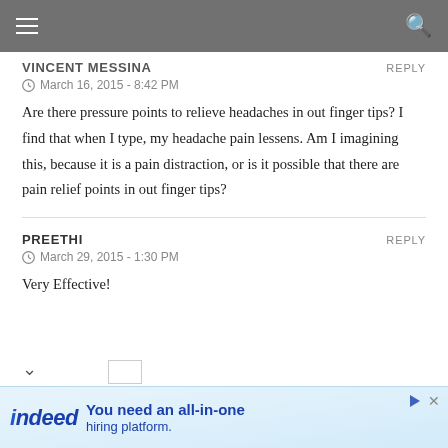Navigation bar with hamburger menu and search icon
VINCENT MESSINA
March 16, 2015 - 8:42 PM
Are there pressure points to relieve headaches in out finger tips? I find that when I type, my headache pain lessens. Am I imagining this, because it is a pain distraction, or is it possible that there are pain relief points in out finger tips?
PREETHI
March 29, 2015 - 1:30 PM
Very Effective!
[Figure (screenshot): Indeed hiring platform advertisement banner]